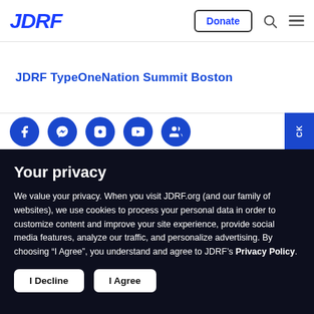JDRF
JDRF TypeOneNation Summit Boston
[Figure (other): Social media icon buttons (Facebook, Messenger, Instagram, YouTube, contacts) as blue circles in a horizontal strip, with a blue CK badge on the right edge]
Your privacy
We value your privacy. When you visit JDRF.org (and our family of websites), we use cookies to process your personal data in order to customize content and improve your site experience, provide social media features, analyze our traffic, and personalize advertising. By choosing “I Agree”, you understand and agree to JDRF’s Privacy Policy.
I Decline
I Agree